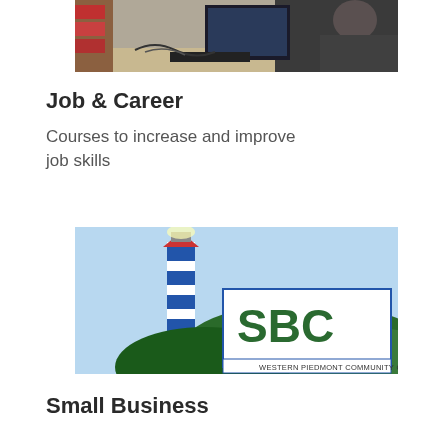[Figure (photo): Person working at a computer workstation with electronics and cables, in a workshop or lab setting]
Job & Career
Courses to increase and improve job skills
[Figure (logo): SBC Small Business Center logo with lighthouse graphic, Western Piedmont Community College]
Small Business